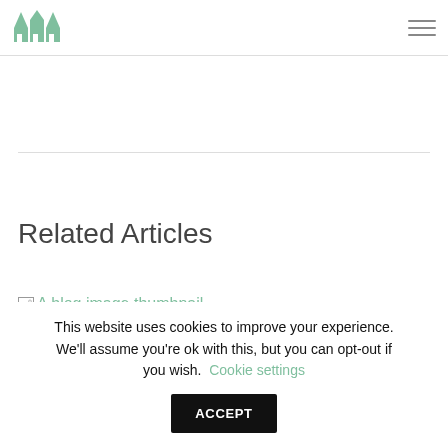[Logo: house icon] [Hamburger menu]
Related Articles
[Figure (illustration): A blog image thumbnail. Broken image icon with alt text link.]
News
This website uses cookies to improve your experience. We'll assume you're ok with this, but you can opt-out if you wish. Cookie settings ACCEPT